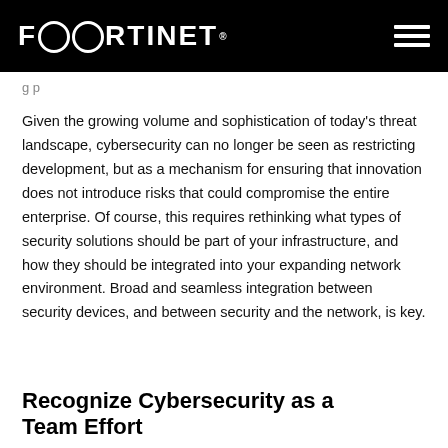FORTINET
g p
Given the growing volume and sophistication of today's threat landscape, cybersecurity can no longer be seen as restricting development, but as a mechanism for ensuring that innovation does not introduce risks that could compromise the entire enterprise. Of course, this requires rethinking what types of security solutions should be part of your infrastructure, and how they should be integrated into your expanding network environment. Broad and seamless integration between security devices, and between security and the network, is key.
Recognize Cybersecurity as a Team Effort